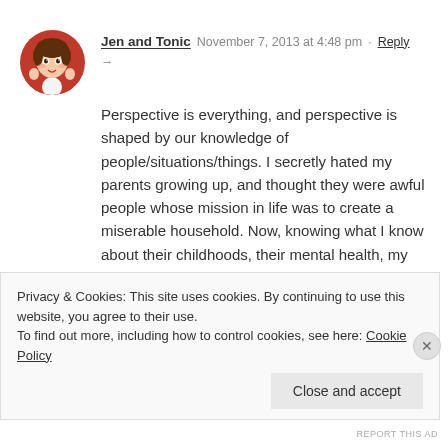Jen and Tonic   November 7, 2013 at 4:48 pm · Reply →
Perspective is everything, and perspective is shaped by our knowledge of people/situations/things. I secretly hated my parents growing up, and thought they were awful people whose mission in life was to create a miserable household. Now, knowing what I know about their childhoods, their mental health, my grandparents' childhoods, and their mental health, I see now that everyone was honestly doing the best they could with what they were given. I wish I
Privacy & Cookies: This site uses cookies. By continuing to use this website, you agree to their use.
To find out more, including how to control cookies, see here: Cookie Policy
Close and accept
REPORT THIS AD